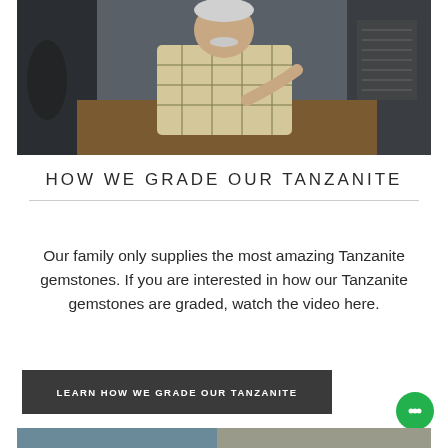[Figure (photo): An older man with white hair and mustache wearing a plaid shirt, sitting at a desk in what appears to be a gemstone or jewelry office, gesturing with his hand while speaking to camera.]
HOW WE GRADE OUR TANZANITE
Our family only supplies the most amazing Tanzanite gemstones. If you are interested in how our Tanzanite gemstones are graded, watch the video here.
LEARN HOW WE GRADE OUR TANZANITE
[Figure (photo): Partial view of another image at the bottom of the page (cropped).]